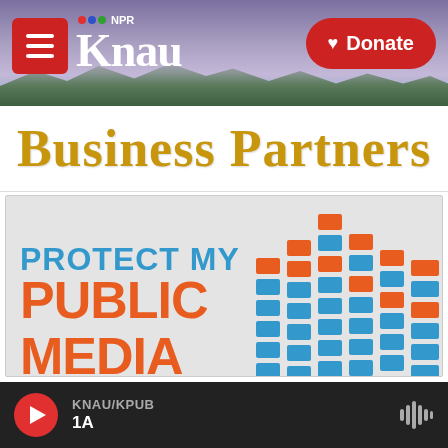[Figure (screenshot): KNAU NPR radio station website screenshot showing header with hamburger menu, KNAU logo, Donate button, Business Partners banner, Protect My Public Media image, and audio player bar at bottom]
KNAU/KPUB  1A